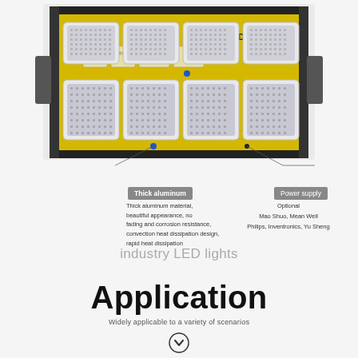[Figure (photo): LED 150W IP66 industrial flood light, yellow/black housing with 8 LED modules arranged in 2 rows of 4, showing IP66 rating, LED 150W label, and icons for anti-corrosion, waterproof, low temperature, heat dissipation, and industry use. Callout lines point to thick aluminum housing and power supply module.]
Thick aluminum
Power supply
Thick aluminum material, beautiful appearance, no fading and corrosion resistance, convection heat dissipation design, rapid heat dissipation
Optional
Mao Shuo, Mean Well
Philips, Inventronics, Yu Sheng
industry LED lights
Application
Widely applicable to a variety of scenarios